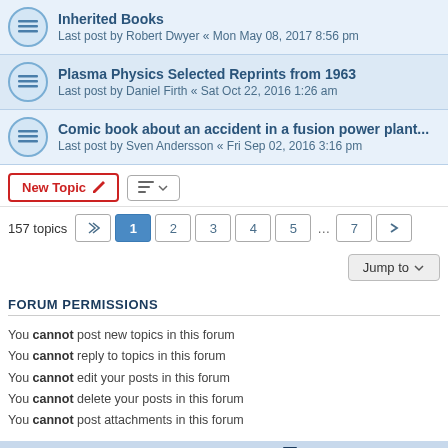Inherited Books — Last post by Robert Dwyer « Mon May 08, 2017 8:56 pm
Plasma Physics Selected Reprints from 1963 — Last post by Daniel Firth « Sat Oct 22, 2016 1:26 am
Comic book about an accident in a fusion power plant... — Last post by Sven Andersson « Fri Sep 02, 2016 3:16 pm
New Topic | sort button
157 topics  1  2  3  4  5  ...  7  >
Jump to
FORUM PERMISSIONS
You cannot post new topics in this forum
You cannot reply to topics in this forum
You cannot edit your posts in this forum
You cannot delete your posts in this forum
You cannot post attachments in this forum
Fusor.net · Board index   All times are UTC-04:00
Powered by phpBB® Forum Software © phpBB Limited
Privacy | Terms